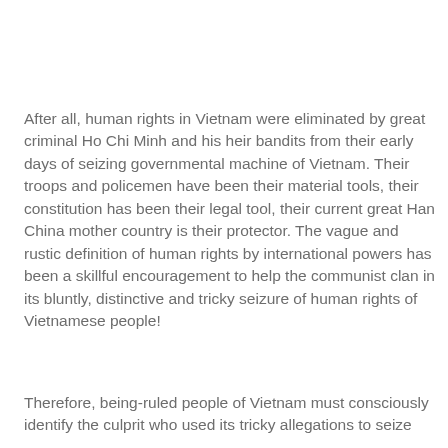After all, human rights in Vietnam were eliminated by great criminal Ho Chi Minh and his heir bandits from their early days of seizing governmental machine of Vietnam. Their troops and policemen have been their material tools, their constitution has been their legal tool, their current great Han China mother country is their protector. The vague and rustic definition of human rights by international powers has been a skillful encouragement to help the communist clan in its bluntly, distinctive and tricky seizure of human rights of Vietnamese people!
Therefore, being-ruled people of Vietnam must consciously identify the culprit who used its tricky allegations to seize